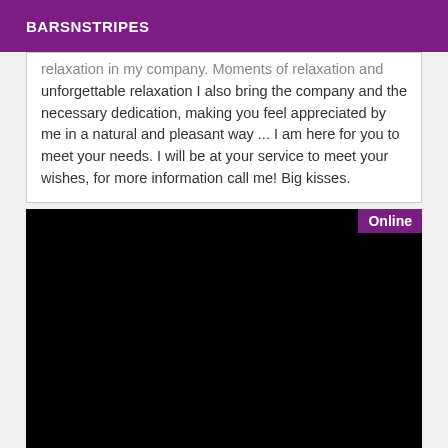BARSNSTRIPES
relaxation in my company. Moments of relaxation and unforgettable relaxation I also bring the company and the necessary dedication, making you feel appreciated by me in a natural and pleasant way ... I am here for you to meet your needs. I will be at your service to meet your wishes, for more information call me! Big kisses.
[Figure (photo): Dark/black image with an 'Online' badge in the top-right corner on a purple background]